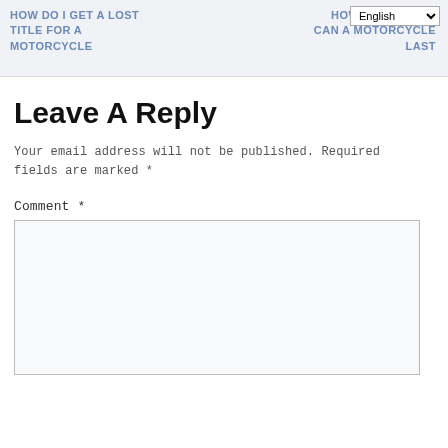HOW DO I GET A LOST TITLE FOR A MOTORCYCLE
HOW MANY MILES CAN A MOTORCYCLE LAST
Leave A Reply
Your email address will not be published. Required fields are marked *
Comment *